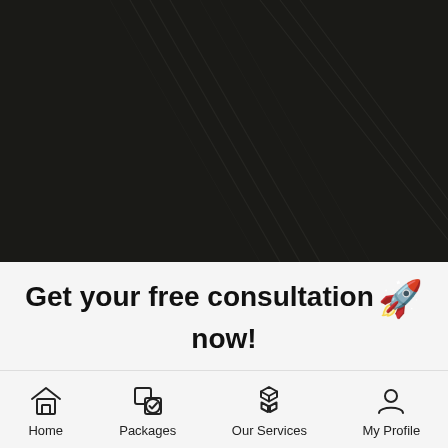[Figure (illustration): Dark background with faint diagonal geometric line pattern]
Get your free consultation🚀 now!
[Figure (infographic): Bottom navigation bar with four icons: Home (house icon), Packages (box with checkmark), Our Services (stacked cubes), My Profile (person silhouette)]